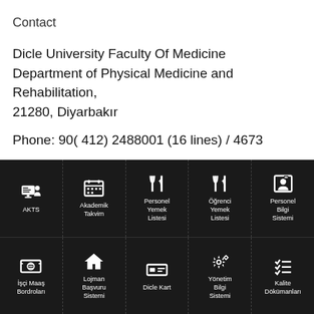Contact
Dicle University Faculty Of Medicine
Department of Physical Medicine and Rehabilitation,
21280, Diyarbakır
Phone: 90( 412) 2488001 (16 lines) / 4673
[Figure (infographic): Dark navigation menu with 10 icons in two rows: AKTS, Akademik Takvim, Personel Yemek Listesi, Öğrenci Yemek Listesi, Personel Bilgi Sistemi (top row); İşçi Maaş Bordroları, Lojman Başvuru Sistemi, Dicle Kart, Yönetim Bilgi Sistemi, Kalite Dökümanları (bottom row)]